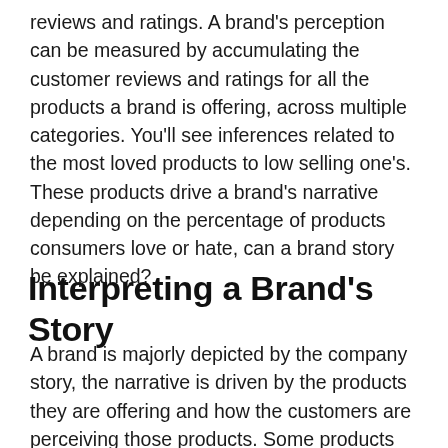reviews and ratings. A brand's perception can be measured by accumulating the customer reviews and ratings for all the products a brand is offering, across multiple categories. You'll see inferences related to the most loved products to low selling one's. These products drive a brand's narrative depending on the percentage of products consumers love or hate, can a brand story be explained?
Interpreting a Brand's Story
A brand is majorly depicted by the company story, the narrative is driven by the products they are offering and how the customers are perceiving those products. Some products could be Hero SKUs,